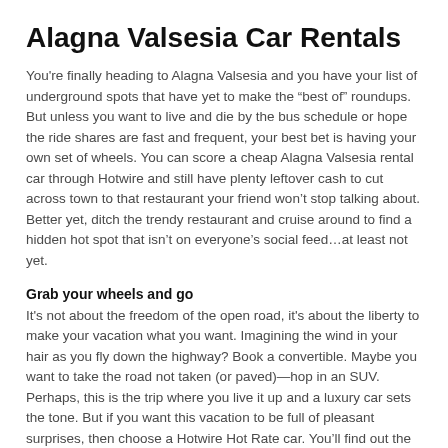Alagna Valsesia Car Rentals
You're finally heading to Alagna Valsesia and you have your list of underground spots that have yet to make the “best of” roundups. But unless you want to live and die by the bus schedule or hope the ride shares are fast and frequent, your best bet is having your own set of wheels. You can score a cheap Alagna Valsesia rental car through Hotwire and still have plenty leftover cash to cut across town to that restaurant your friend won’t stop talking about. Better yet, ditch the trendy restaurant and cruise around to find a hidden hot spot that isn’t on everyone’s social feed…at least not yet.
Grab your wheels and go
It's not about the freedom of the open road, it's about the liberty to make your vacation what you want. Imagining the wind in your hair as you fly down the highway? Book a convertible. Maybe you want to take the road not taken (or paved)—hop in an SUV. Perhaps, this is the trip where you live it up and a luxury car sets the tone. But if you want this vacation to be full of pleasant surprises, then choose a Hotwire Hot Rate car. You’ll find out the rental agency after you book, but we only work with the best car rental agencies in Alagna Valsesia, so there’s no risk in rolling these dice.